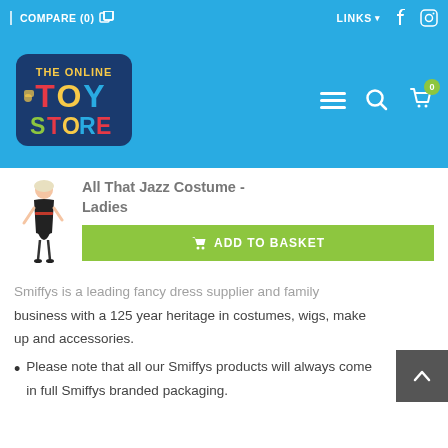COMPARE (0)  |  LINKS  f  [instagram]
[Figure (logo): The Online Toy Store logo with colorful text on blue background]
All That Jazz Costume - Ladies
ADD TO BASKET
Smiffys is a leading fancy dress supplier and family business with a 125 year heritage in costumes, wigs, make up and accessories.
Please note that all our Smiffys products will always come in full Smiffys branded packaging.